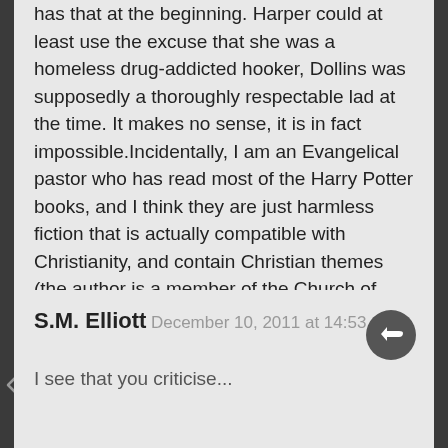has that at the beginning. Harper could at least use the excuse that she was a homeless drug-addicted hooker, Dollins was supposedly a thoroughly respectable lad at the time. It makes no sense, it is in fact impossible.Incidentally, I am an Evangelical pastor who has read most of the Harry Potter books, and I think they are just harmless fiction that is actually compatible with Christianity, and contain Christian themes (the author is a member of the Church of Scotland). Writing books involving fictional magic has no necessary connection with any religious group at all. Philip Pullman, author of 'The Golden Compass' is an ardent atheist, and he wrote books full of magic. The message of a book is rarely in the trappings, but in the plot.
S.M. Elliott
December 10, 2011 at 14:53
I see that you criticise...